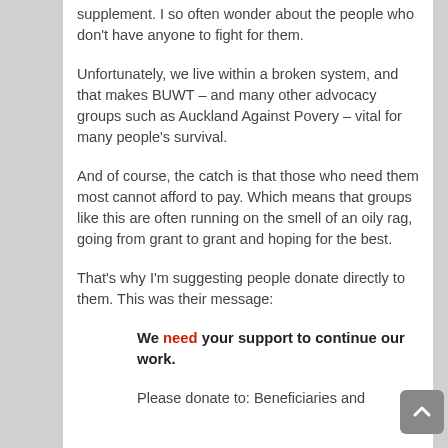supplement. I so often wonder about the people who don't have anyone to fight for them.
Unfortunately, we live within a broken system, and that makes BUWT – and many other advocacy groups such as Auckland Against Povery – vital for many people's survival.
And of course, the catch is that those who need them most cannot afford to pay. Which means that groups like this are often running on the smell of an oily rag, going from grant to grant and hoping for the best.
That's why I'm suggesting people donate directly to them. This was their message:
We need your support to continue our work.
Please donate to: Beneficiaries and